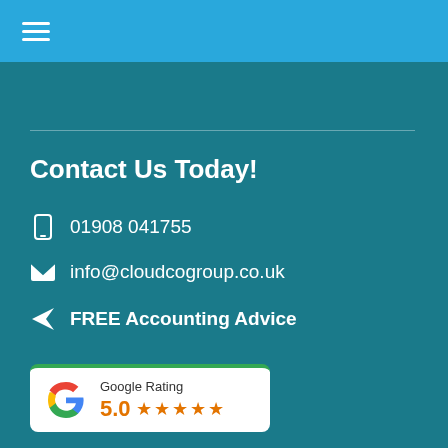[Figure (screenshot): Blue top navigation bar with white hamburger menu icon]
Contact Us Today!
01908 041755
info@cloudcogroup.co.uk
FREE Accounting Advice
[Figure (other): Google Rating badge showing 5.0 stars with Google G logo]
[Figure (logo): Xero logo circle in blue and Certified Advisor badge]